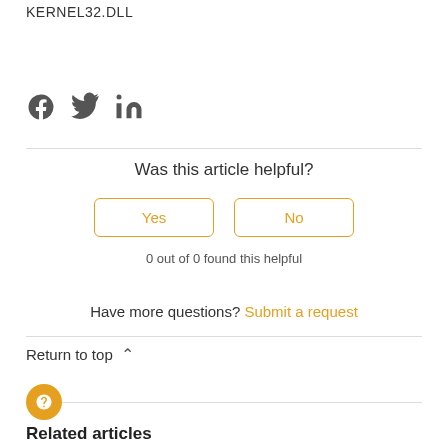KERNEL32.DLL
[Figure (illustration): Social sharing icons: Facebook, Twitter, LinkedIn]
Was this article helpful?
Yes
No
0 out of 0 found this helpful
Have more questions? Submit a request
Return to top ∧
[Figure (illustration): Orange circular help/question mark button]
Related articles